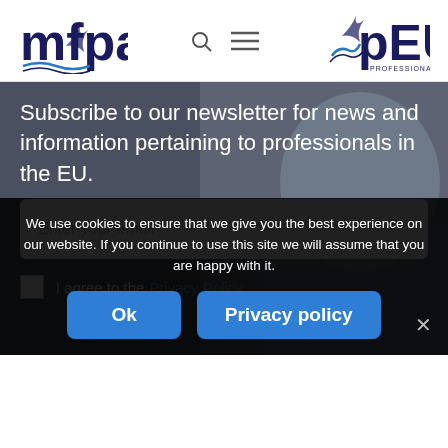[Figure (logo): MFPA logo with dark blue bold text and wave graphic beneath]
[Figure (logo): pEUd Professional EU Desk logo with dark blue bold text and wave graphic]
Subscribe to our newsletter for news and information pertaining to professionals in the EU.
Enter your email
I agree to the Privacy Policy
We use cookies to ensure that we give you the best experience on our website. If you continue to use this site we will assume that you are happy with it.